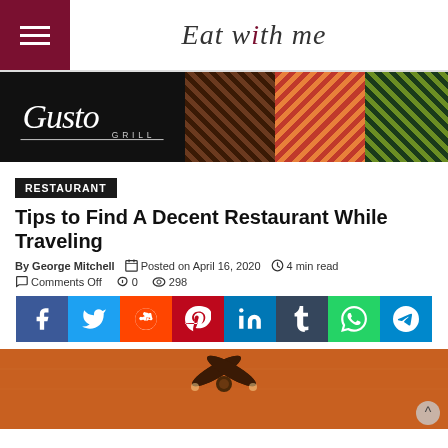Eat with me
[Figure (illustration): Gusto Grill restaurant advertisement banner with logo, food photos, and text: Seafood, steak, pasta, bar food craft beer, wine, great pizza and incredible desserts]
RESTAURANT
Tips to Find A Decent Restaurant While Traveling
By George Mitchell  Posted on April 16, 2020  4 min read  Comments Off  0  298
[Figure (infographic): Social media sharing buttons: Facebook, Twitter, Reddit, Pinterest, LinkedIn, Tumblr, WhatsApp, Telegram]
[Figure (photo): Interior of a restaurant showing a ceiling fan and warm orange lighting]